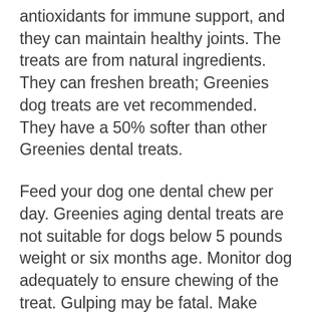antioxidants for immune support, and they can maintain healthy joints. The treats are from natural ingredients. They can freshen breath; Greenies dog treats are vet recommended. They have a 50% softer than other Greenies dental treats.
Feed your dog one dental chew per day. Greenies aging dental treats are not suitable for dogs below 5 pounds weight or six months age. Monitor dog adequately to ensure chewing of the treat. Gulping may be fatal. Make fresh drinking water available.
Key Features: